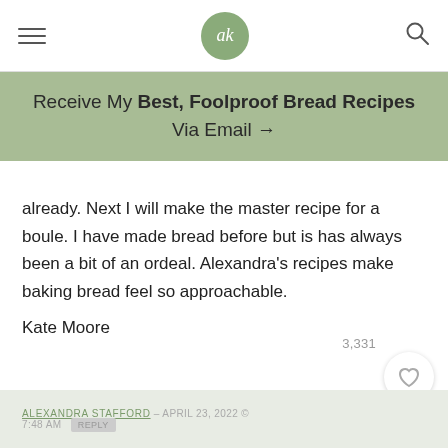ak (logo)
Receive My Best, Foolproof Bread Recipes Via Email →
already. Next I will make the master recipe for a boule. I have made bread before but is has always been a bit of an ordeal. Alexandra's recipes make baking bread feel so approachable.
Kate Moore
★★★★★
3,331
ALEXANDRA STAFFORD – APRIL 23, 2022 © 7:48 AM  REPLY